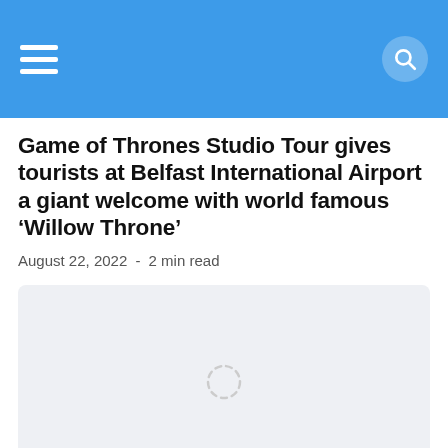NI NEWS — navigation bar with hamburger menu and search icon
Game of Thrones Studio Tour gives tourists at Belfast International Airport a giant welcome with world famous ‘Willow Throne’
August 22, 2022  -  2 min read
[Figure (photo): Loading placeholder image with spinner icon on light grey background]
NI NEWS
Omagh : One dead following serious RTC
August 16, 2022  -  1 min read